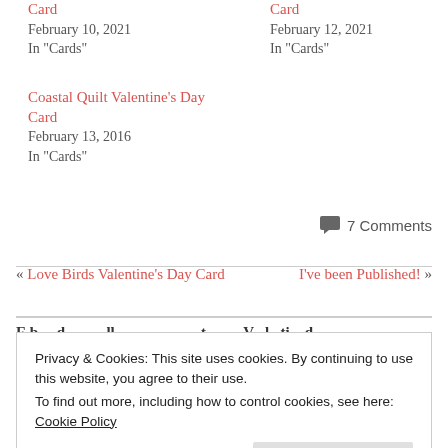Card
February 10, 2021
In "Cards"
Card
February 12, 2021
In "Cards"
Coastal Quilt Valentine's Day Card
February 13, 2016
In "Cards"
7 Comments
« Love Birds Valentine's Day Card
I've been Published! »
Privacy & Cookies: This site uses cookies. By continuing to use this website, you agree to their use.
To find out more, including how to control cookies, see here: Cookie Policy
Close and accept
Beautiful card! Making your own template was a